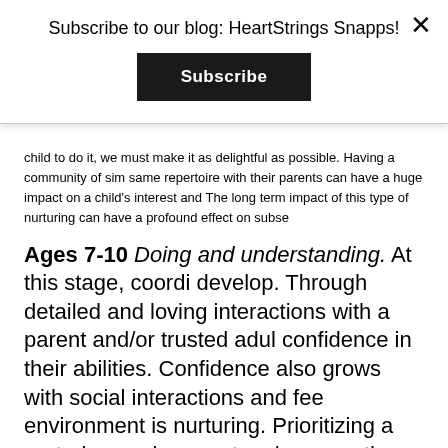Subscribe to our blog: HeartStrings Snapps!
Subscribe
child to do it, we must make it as delightful as possible. Having a community of similar-minded children doing the same repertoire with their parents can have a huge impact on a child's interest and motivation to learn music. The long term impact of this type of nurturing can have a profound effect on subsequent music development.
Ages 7-10 Doing and understanding. At this stage, coordination and fine motor skills develop. Through detailed and loving interactions with a parent and/or trusted adult, the child can begin to develop confidence in their abilities. Confidence also grows with social interactions and feedback, especially when the environment is nurturing. Prioritizing a nurturing environment makes sure the learner understands they are more important than what they do. Learning and understanding begin to blossom at this stage, and a mindful adult will be able to support that by following careful practice protocols. The parent or teacher can be a strong mirror for the child as they move into adolescence. All of this is easier and more fun when seeing others doing it at the same time. Because of the uniqueness of the online community, the child can feel side by side, feeling encouraged at the sight of others practicing too. Supervised Daily Practice videos help utilize the online community to work on these crucial practice skills.
Ages 10-14 Doing, understanding, and the rise of Pre-adolescence is often misunderstood by many parents. At this stage the child may be capable of more autonomous work, but craves the company of another person, especially when...